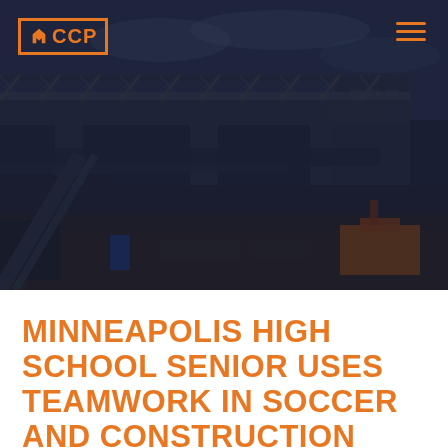[Figure (photo): Dark-toned construction site photo showing a large elevated structure (bridge or transit line) under construction with heavy machinery and excavation work, overlaid with a dark blue tint. CCP logo in top-left corner with orange border, and hamburger menu icon in top-right corner.]
MINNEAPOLIS HIGH SCHOOL SENIOR USES TEAMWORK IN SOCCER AND CONSTRUCTION INTERNSHIP